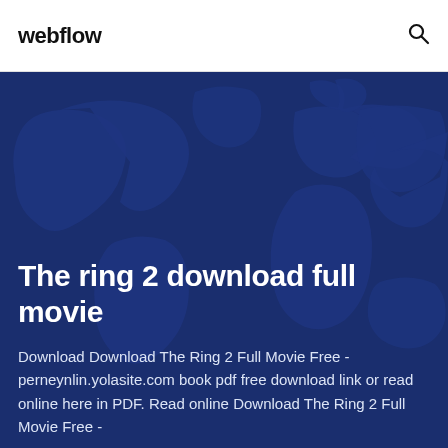webflow
[Figure (illustration): World map illustration in blue tones overlaid on a dark navy background, serving as a hero section background]
The ring 2 download full movie
Download Download The Ring 2 Full Movie Free - perneynlin.yolasite.com book pdf free download link or read online here in PDF. Read online Download The Ring 2 Full Movie Free -